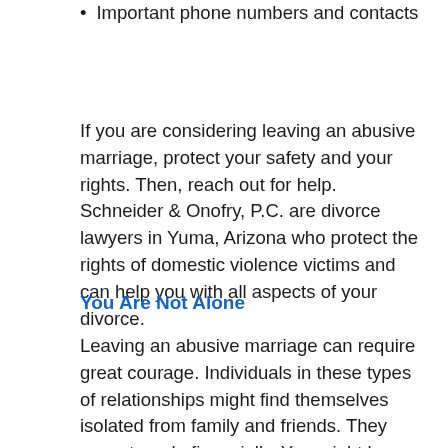Important phone numbers and contacts
If you are considering leaving an abusive marriage, protect your safety and your rights. Then, reach out for help. Schneider & Onofry, P.C. are divorce lawyers in Yuma, Arizona who protect the rights of domestic violence victims and can help you with all aspects of your divorce.
You Are Not Alone
Leaving an abusive marriage can require great courage. Individuals in these types of relationships might find themselves isolated from family and friends. They may struggle financially. You might have many questions